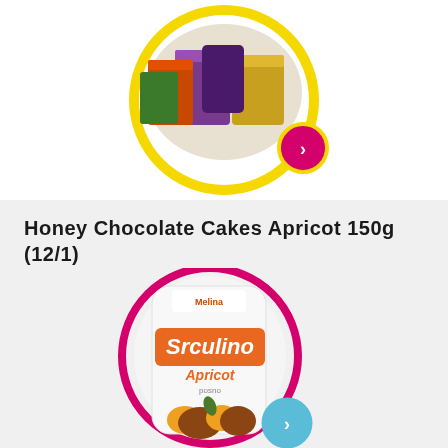[Figure (photo): Product carousel showing chocolate gift boxes inside a yellow circle with a pink navigation arrow button]
Honey chocolate cakes apricot 150g (12/1)
[Figure (photo): Srculino Apricot chocolate product bag (Melina brand) shown inside a pink circle with a blue navigation arrow button]